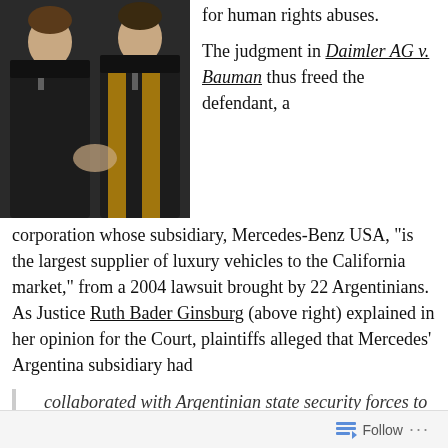[Figure (photo): Two people in academic/judicial robes, one with a gold sash, standing side by side.]
for human rights abuses.
The judgment in Daimler AG v. Bauman thus freed the defendant, a corporation whose subsidiary, Mercedes-Benz USA, “is the largest supplier of luxury vehicles to the California market,” from a 2004 lawsuit brought by 22 Argentinians. As Justice Ruth Bader Ginsburg (above right) explained in her opinion for the Court, plaintiffs alleged that Mercedes’ Argentina subsidiary had
collaborated with Argentinian state security forces to kidnap, detain, torture, and kill plaintiffs and their relatives during the military dictatorship in place there from 1976
Follow ...